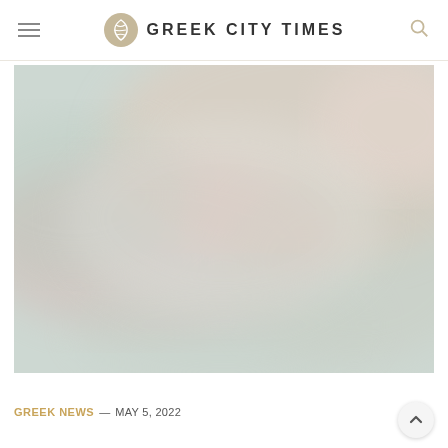GREEK CITY TIMES
[Figure (photo): Blurred, soft-focus outdoor scene with muted pink, beige, and sage green tones, resembling a hazy sky or landscape at dusk.]
GREEK NEWS — MAY 5, 2022